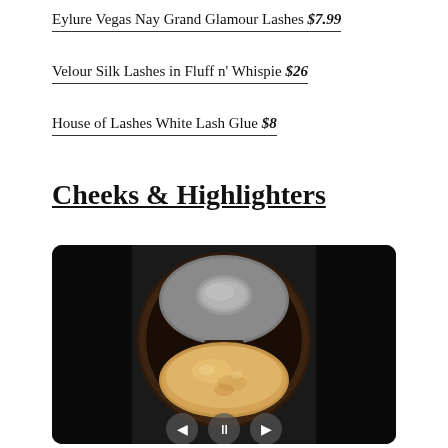Eylure Vegas Nay Grand Glamour Lashes $7.99
Velour Silk Lashes in Fluff n' Whispie $26
House of Lashes White Lash Glue $8
Cheeks & Highlighters
[Figure (photo): A circular makeup compact/highlighter with a dark brown casing and a gold/bronze shimmer powder pan, shown open with a grey mirror lid. The compact appears to be a BECCA-style highlighter product displayed against a dark background with video player controls visible.]